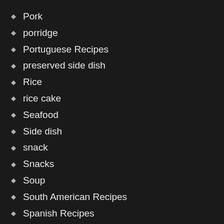Pork
porridge
Portuguese Recipes
preserved side dish
Rice
rice cake
Seafood
Side dish
snack
Snacks
Soup
South American Recipes
Spanish Recipes